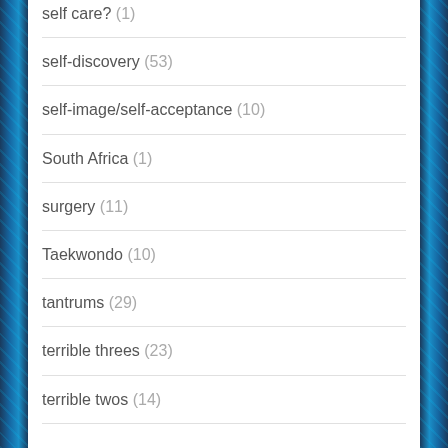self care? (1)
self-discovery (53)
self-image/self-acceptance (10)
South Africa (1)
surgery (11)
Taekwondo (10)
tantrums (29)
terrible threes (23)
terrible twos (14)